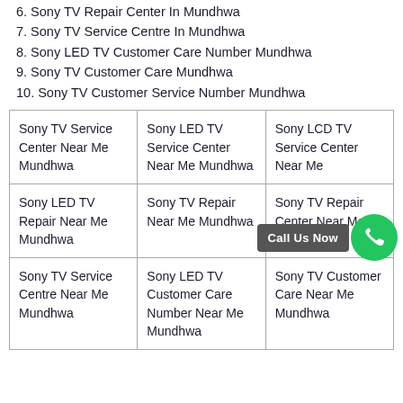6. Sony TV Repair Center In Mundhwa
7. Sony TV Service Centre In Mundhwa
8. Sony LED TV Customer Care Number Mundhwa
9. Sony TV Customer Care Mundhwa
10. Sony TV Customer Service Number Mundhwa
| Sony TV Service Center Near Me Mundhwa | Sony LED TV Service Center Near Me Mundhwa | Sony LCD TV Service Center Near Me |
| Sony LED TV Repair Near Me Mundhwa | Sony TV Repair Near Me Mundhwa | Sony TV Repair Center Near Me Mundhwa |
| Sony TV Service Centre Near Me Mundhwa | Sony LED TV Customer Care Number Near Me Mundhwa | Sony TV Customer Care Near Me Mundhwa |